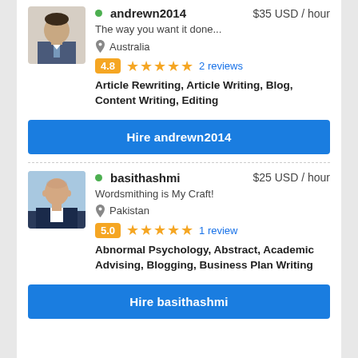[Figure (photo): Profile photo of andrewn2014, a man in a suit and tie]
andrewn2014   $35 USD / hour
The way you want it done...
Australia
4.8  ★★★★★  2 reviews
Article Rewriting, Article Writing, Blog, Content Writing, Editing
Hire andrewn2014
[Figure (photo): Profile photo of basithashmi, a bald man outdoors]
basithashmi   $25 USD / hour
Wordsmithing is My Craft!
Pakistan
5.0  ★★★★★  1 review
Abnormal Psychology, Abstract, Academic Advising, Blogging, Business Plan Writing
Hire basithashmi